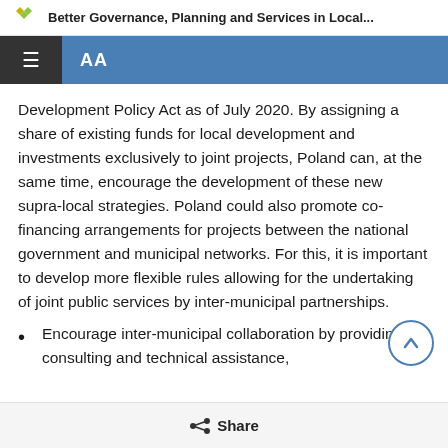Better Governance, Planning and Services in Local...
Development Policy Act as of July 2020. By assigning a share of existing funds for local development and investments exclusively to joint projects, Poland can, at the same time, encourage the development of these new supra-local strategies. Poland could also promote co-financing arrangements for projects between the national government and municipal networks. For this, it is important to develop more flexible rules allowing for the undertaking of joint public services by inter-municipal partnerships.
Encourage inter-municipal collaboration by providing consulting and technical assistance,
Share